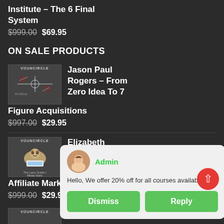Institute – The 6 Final System
$999.00  $69.95
ON SALE PRODUCTS
Jason Paul Rogers – From Zero Idea To 7 Figure Acquisitions
$997.00  $29.95
Elizabeth Goddard – The Lazy Guide to Affiliate Marketing
$999.00  $29.95
Beginners
Admin
Hello, We offer 20% off for all courses available c...